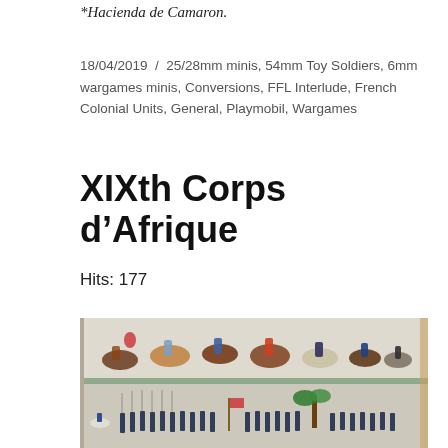*Hacienda de Camaron.
18/04/2019  /  25/28mm minis, 54mm Toy Soldiers, 6mm wargames minis, Conversions, FFL Interlude, French Colonial Units, General, Playmobil, Wargames
XIXth Corps d’Afrique
Hits: 177
[Figure (photo): Display cabinet shelves showing painted toy soldier miniatures — upper shelf has cavalry figures on horseback, lower shelf has infantry figures marching with rifles and flags, including palm tree decorations.]